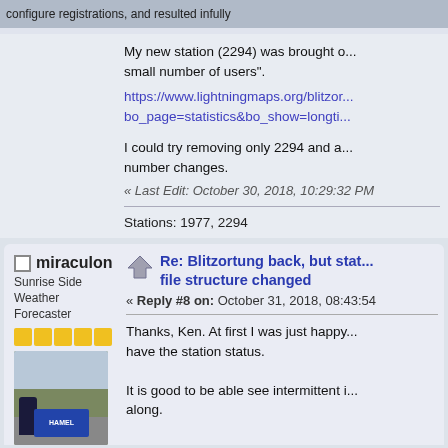My new station (2294) was brought o... small number of users".
https://www.lightningmaps.org/blitzor... bo_page=statistics&bo_show=longti...
I could try removing only 2294 and a... number changes.
« Last Edit: October 30, 2018, 10:29:32 PM
Stations: 1977, 2294
miraculon
Sunrise Side Weather Forecaster
Re: Blitzortung back, but stat... file structure changed
« Reply #8 on: October 31, 2018, 08:43:54
Thanks, Ken. At first I was just happy... have the station status.
It is good to be able see intermittent i... along.
[Figure (photo): User avatar photo of miraculon, showing a person standing in front of a Hamel sign]